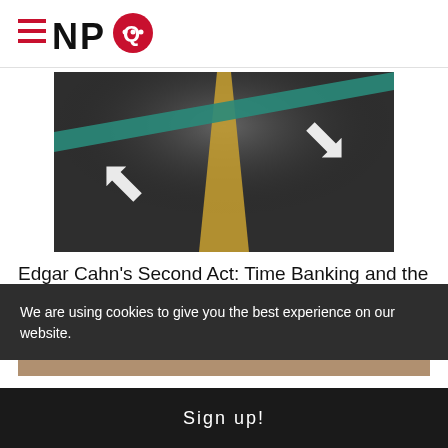NPQ
[Figure (photo): Road surface with white arrow markings pointing in different directions over a teal/green painted line and yellow center line on dark asphalt]
Edgar Cahn's Second Act: Time Banking and the Return of...
Steve Dubb
We are using cookies to give you the best experience on our website.
Sign up!